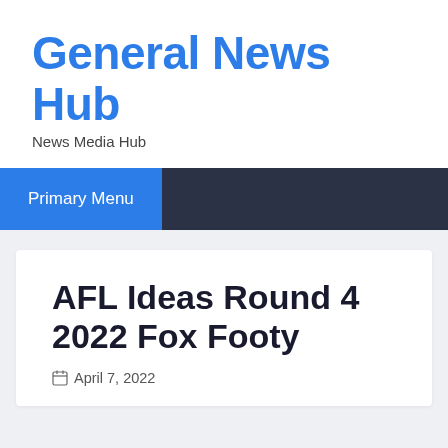General News Hub
News Media Hub
Primary Menu
AFL Ideas Round 4 2022 Fox Footy
April 7, 2022